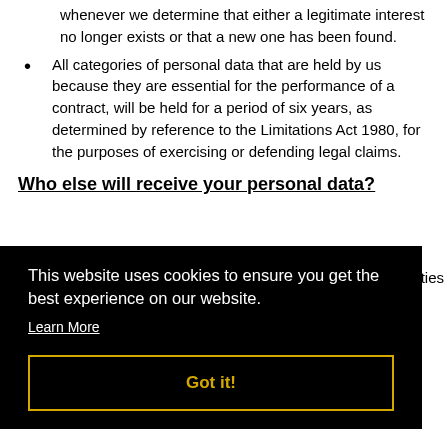whenever we determine that either a legitimate interest no longer exists or that a new one has been found.
All categories of personal data that are held by us because they are essential for the performance of a contract, will be held for a period of six years, as determined by reference to the Limitations Act 1980, for the purposes of exercising or defending legal claims.
Who else will receive your personal data?
…arties
[Figure (screenshot): Cookie consent overlay banner with black background, text reading 'This website uses cookies to ensure you get the best experience on our website.', a 'Learn More' link, and a 'Got it!' button with yellow border and yellow text.]